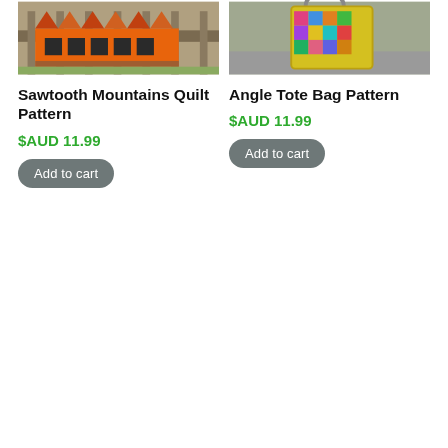[Figure (photo): Sawtooth Mountains Quilt Pattern product image showing a quilt hanging on a fence outdoors with orange, brown, and colorful fabric design]
[Figure (photo): Angle Tote Bag Pattern product image showing a colorful tote bag with yellow lining and patchwork fabric standing outdoors]
Sawtooth Mountains Quilt Pattern
$AUD 11.99
Add to cart
Angle Tote Bag Pattern
$AUD 11.99
Add to cart